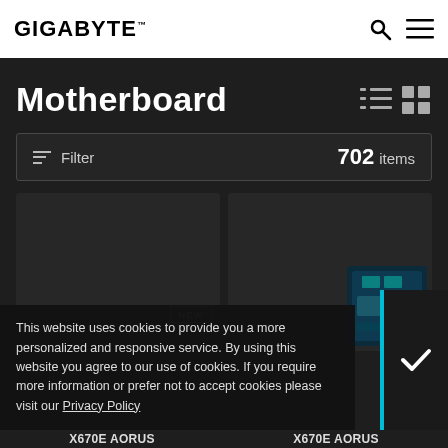GIGABYTE
Motherboard
Filter  702 items
[Figure (screenshot): Two product cards with NEW badges showing Gigabyte motherboard products in a dark grid layout]
This website uses cookies to provide you a more personalized and responsive service. By using this website you agree to our use of cookies. If you require more information or prefer not to accept cookies please visit our Privacy Policy
X670E AORUS  X670E AORUS